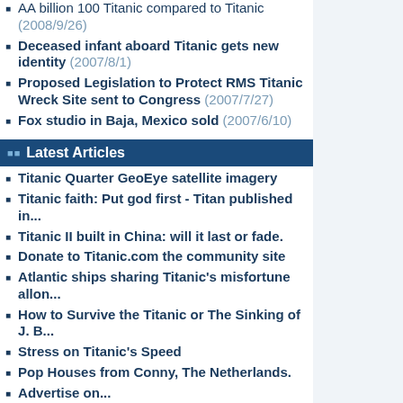AA billion 100 Titanic compared to Titanic (2008/9/26)
Deceased infant aboard Titanic gets new identity (2007/8/1)
Proposed Legislation to Protect RMS Titanic Wreck Site sent to Congress (2007/7/27)
Fox studio in Baja, Mexico sold (2007/6/10)
Latest Articles
Titanic Quarter GeoEye satellite imagery
Titanic faith: Put god first - Titan published in...
Titanic II built in China: will it last or fade.
Donate to Titanic.com the community site
Atlantic ships sharing Titanic's misfortune allon...
How to Survive the Titanic or The Sinking of J. B...
Stress on Titanic's Speed
Pop Houses from Conny, The Netherlands.
Advertise on...